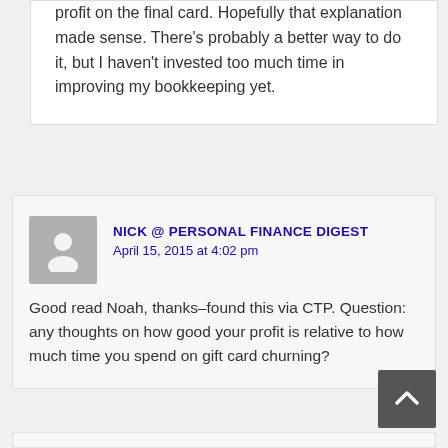profit on the final card. Hopefully that explanation made sense. There's probably a better way to do it, but I haven't invested too much time in improving my bookkeeping yet.
NICK @ PERSONAL FINANCE DIGEST
April 15, 2015 at 4:02 pm
Good read Noah, thanks–found this via CTP. Question: any thoughts on how good your profit is relative to how much time you spend on gift card churning?